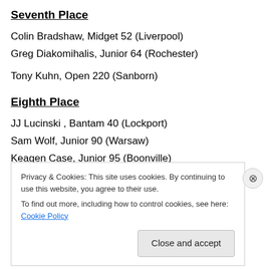Seventh Place
Colin Bradshaw, Midget 52 (Liverpool)
Greg Diakomihalis, Junior 64 (Rochester)
Tony Kuhn, Open 220 (Sanborn)
Eighth Place
JJ Lucinski , Bantam 40 (Lockport)
Sam Wolf, Junior 90 (Warsaw)
Keagen Case, Junior 95 (Boonville)
Tyler Castro , Junior 125 (Otisville)
Privacy & Cookies: This site uses cookies. By continuing to use this website, you agree to their use.
To find out more, including how to control cookies, see here: Cookie Policy
Close and accept